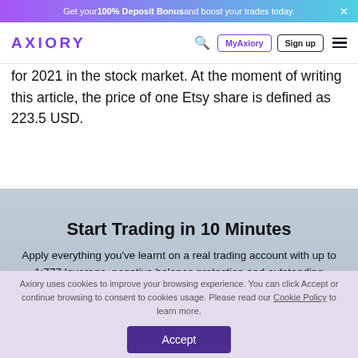Get your 100% Deposit Bonus and boost your trades today.  X
AXIORY  [search] MyAxiory  Sign up  [menu]
for 2021 in the stock market. At the moment of writing this article, the price of one Etsy share is defined as 223.5 USD.
Start Trading in 10 Minutes
Apply everything you've learnt on a real trading account with up to 1:777 leverage, negative balance protection and outstanding support.
Axiory uses cookies to improve your browsing experience. You can click Accept or continue browsing to consent to cookies usage. Please read our Cookie Policy to learn more.
Accept